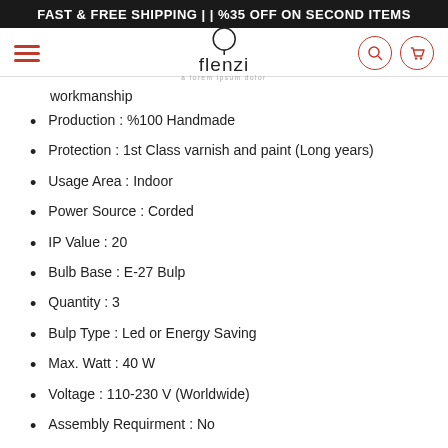FAST & FREE SHIPPING | | %35 OFF ON SECOND ITEMS
[Figure (logo): Flenzi furniture logo with hamburger menu, search and cart icons]
workmanship
Production : %100 Handmade
Protection : 1st Class varnish and paint (Long years)
Usage Area : Indoor
Power Source : Corded
IP Value : 20
Bulb Base : E-27 Bulp
Quantity : 3
Bulp Type : Led or Energy Saving
Max. Watt : 40 W
Voltage : 110-230 V (Worldwide)
Assembly Requirment : No
Installation : Video... (partial)